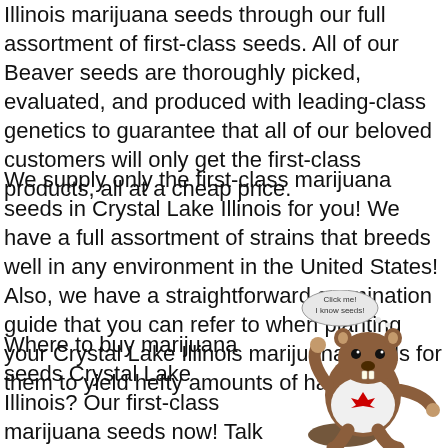Illinois marijuana seeds through our full assortment of first-class seeds. All of our Beaver seeds are thoroughly picked, evaluated, and produced with leading-class genetics to guarantee that all of our beloved customers will only get the first-class products, all at a cheap price.
We supply only the first-class marijuana seeds in Crystal Lake Illinois for you! We have a full assortment of strains that breeds well in any environment in the United States! Also, we have a straightforward germination guide that you can refer to when planting your Crystal Lake Illinois marijuana seeds for them to yield hefty amounts of harvest.
[Figure (illustration): Cartoon beaver mascot wearing a white t-shirt with a red maple leaf, waving, with a speech bubble saying 'Click me! I know seeds!']
Where to buy marijuana seeds Crystal Lake Illinois? Our first-class marijuana seeds now! Talk to our clientele as a team and they will recommend the first-class Crystal Lake Illinois marijuana seeds for you!